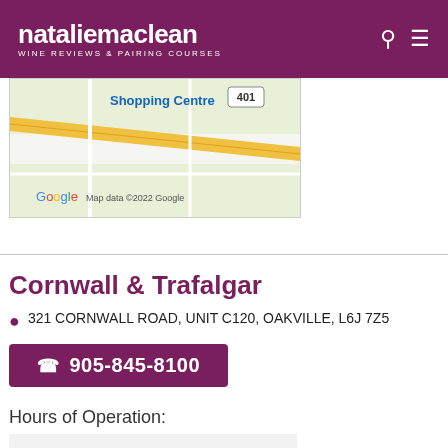nataliemaclean WINE REVIEWS & PAIRING COURSES
[Figure (map): Google Maps screenshot showing Shopping Centre area near highway 401, with map data ©2022 Google attribution]
Cornwall & Trafalgar
321 CORNWALL ROAD, UNIT C120, OAKVILLE, L6J 7Z5
905-845-8100
Hours of Operation:
| Sunday: | 11:00 AM - 6:00 PM |
| Monday: | 10:00 AM - 9:00 PM |